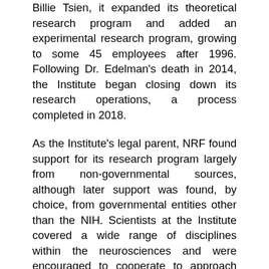Billie Tsien, it expanded its theoretical research program and added an experimental research program, growing to some 45 employees after 1996. Following Dr. Edelman's death in 2014, the Institute began closing down its research operations, a process completed in 2018.
As the Institute's legal parent, NRF found support for its research program largely from non-governmental sources, although later support was found, by choice, from governmental entities other than the NIH. Scientists at the Institute covered a wide range of disciplines within the neurosciences and were encouraged to cooperate to approach fundamental problems that required such interdisciplinary interactions. The Institute also organized ways for scientists to interact through small conferences and sponsored various educational activities for the general public. For additional information about the Institute's history, activities, and accomplishments, refer to the other pages in this website.
In the next evolutionary phase of its scientific and educational programs, NRF has reorganized and will provide support for the newly formed Center for Advanced Neural Systems ("CANS") under the leadership of Dr. Andrew Schwartz, Distinguished